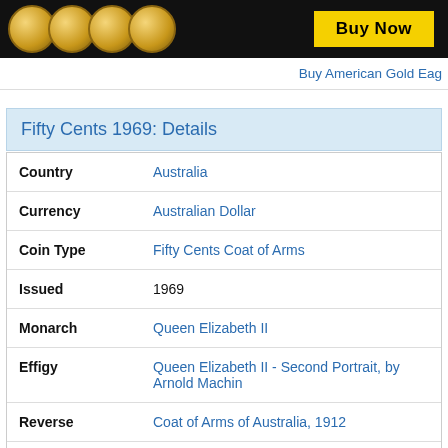[Figure (photo): Advertisement banner showing gold coins on black background with yellow 'Buy Now' button]
Buy American Gold Eag
Fifty Cents 1969: Details
| Field | Value |
| --- | --- |
| Country | Australia |
| Currency | Australian Dollar |
| Coin Type | Fifty Cents Coat of Arms |
| Issued | 1969 |
| Monarch | Queen Elizabeth II |
| Effigy | Queen Elizabeth II - Second Portrait, by Arnold Machin |
| Reverse | Coat of Arms of Australia, 1912 |
| Face Value | 50 (x Cent) |